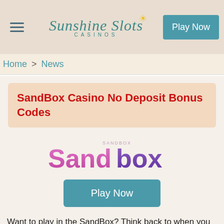Sunshine Slots Casinos — Play Now
Home > News
SandBox Casino No Deposit Bonus Codes
[Figure (logo): Sandbox casino logo with pink and purple gradient text reading 'Sandbox' with small stylized text above]
Play Now
Want to play in the SandBox? Think back to when you were a child and loved putting sand in a pale and then smashing it on the ground to form a replica of the pale